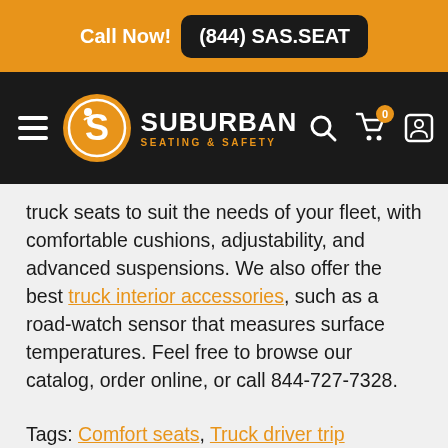Call Now! (844) SAS.SEAT
[Figure (logo): Suburban Seating & Safety logo with navigation bar on dark background]
truck seats to suit the needs of your fleet, with comfortable cushions, adjustability, and advanced suspensions. We also offer the best truck interior accessories, such as a road-watch sensor that measures surface temperatures. Feel free to browse our catalog, order online, or call 844-727-7328.
Tags: Comfort seats, Truck driver trip planning, Truck seats